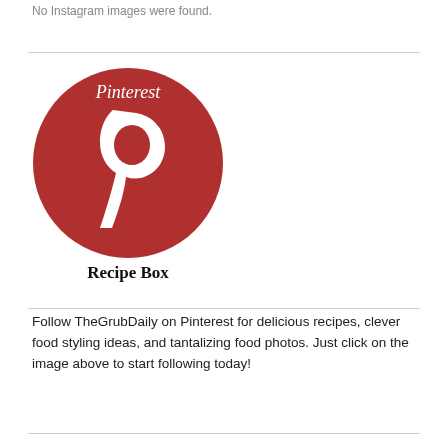No Instagram images were found.
[Figure (logo): Pinterest Recipe Box logo: a red circle with a white stylized lowercase 'p' pin icon, italic 'Pinterest' text in white at the top, and bold 'Recipe Box' text in black below the circle.]
Follow TheGrubDaily on Pinterest for delicious recipes, clever food styling ideas, and tantalizing food photos. Just click on the image above to start following today!